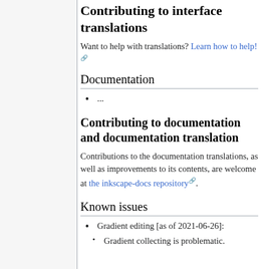Contributing to interface translations
Want to help with translations? Learn how to help!
Documentation
...
Contributing to documentation and documentation translation
Contributions to the documentation translations, as well as improvements to its contents, are welcome at the inkscape-docs repository.
Known issues
Gradient editing [as of 2021-06-26]:
Gradient collecting is problematic.